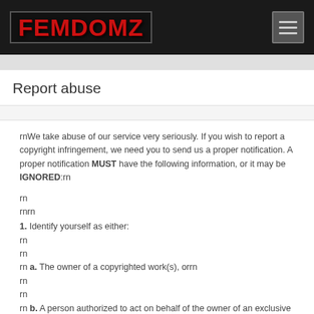[Figure (logo): FEMDOMZ logo in red distressed text on dark background]
Report abuse
rnWe take abuse of our service very seriously. If you wish to report a copyright infringement, we need you to send us a proper notification. A proper notification MUST have the following information, or it may be IGNORED:rn
rn
rnrn
1. Identify yourself as either:
rn
rn
rn a. The owner of a copyrighted work(s), orrn
rn
rn
rn b. A person authorized to act on behalf of the owner of an exclusive right that is allegedly infringed.rn
rn